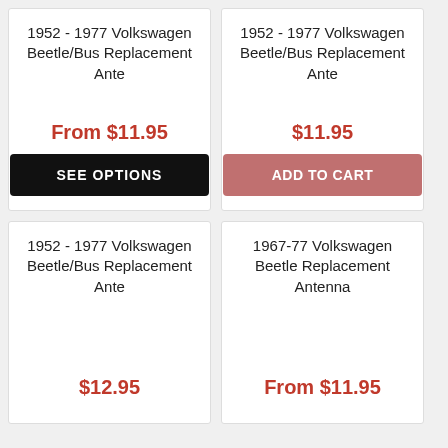1952 - 1977 Volkswagen Beetle/Bus Replacement Ante
From $11.95
SEE OPTIONS
1952 - 1977 Volkswagen Beetle/Bus Replacement Ante
$11.95
ADD TO CART
1952 - 1977 Volkswagen Beetle/Bus Replacement Ante
$12.95
1967-77 Volkswagen Beetle Replacement Antenna
From $11.95